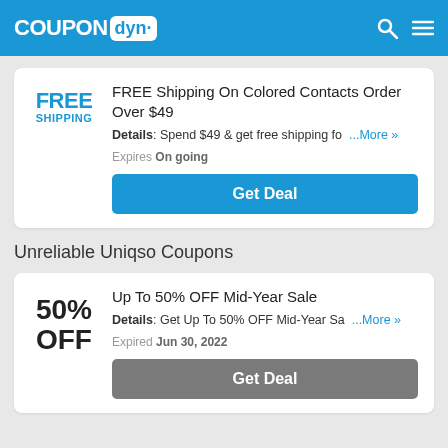COUPON dyn.
FREE Shipping On Colored Contacts Order Over $49
Details: Spend $49 & get free shipping fo ...More »
Expires On going
Get Deal
Unreliable Uniqso Coupons
Up To 50% OFF Mid-Year Sale
Details: Get Up To 50% OFF Mid-Year Sa ...More »
Expired Jun 30, 2022
Get Deal